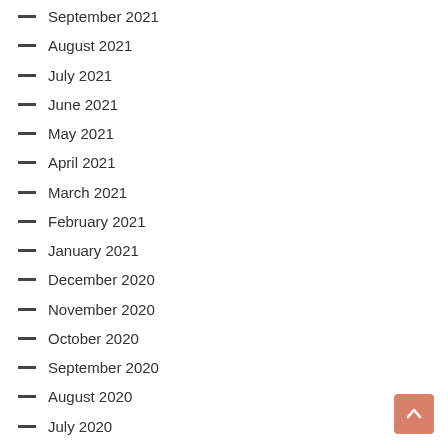September 2021
August 2021
July 2021
June 2021
May 2021
April 2021
March 2021
February 2021
January 2021
December 2020
November 2020
October 2020
September 2020
August 2020
July 2020
June 2020
May 2020
April 2020